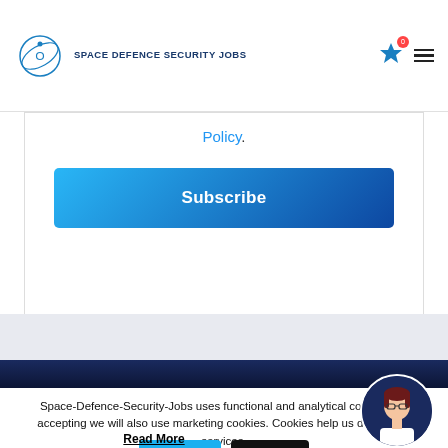SPACE DEFENCE SECURITY JOBS
Policy.
Subscribe
Space-Defence-Security-Jobs uses functional and analytical cookies. By accepting we will also use marketing cookies. Cookies help us deliver our services.
Accept
Reject
Read More